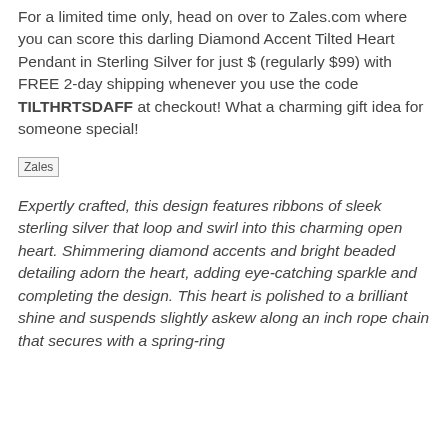For a limited time only, head on over to Zales.com where you can score this darling Diamond Accent Tilted Heart Pendant in Sterling Silver for just $ (regularly $99) with FREE 2-day shipping whenever you use the code TILTHRTSDAFF at checkout! What a charming gift idea for someone special!
[Figure (other): Zales logo image placeholder]
Expertly crafted, this design features ribbons of sleek sterling silver that loop and swirl into this charming open heart. Shimmering diamond accents and bright beaded detailing adorn the heart, adding eye-catching sparkle and completing the design. This heart is polished to a brilliant shine and suspends slightly askew along an inch rope chain that secures with a spring-ring